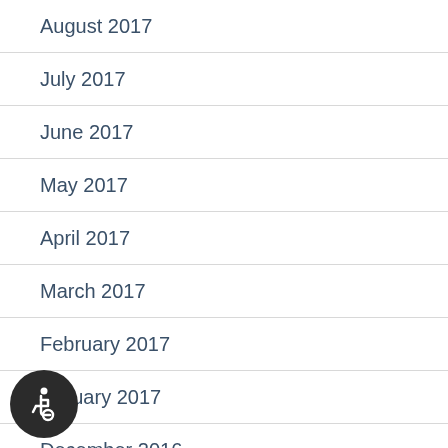August 2017
July 2017
June 2017
May 2017
April 2017
March 2017
February 2017
January 2017
December 2016
[Figure (illustration): Accessibility icon button (wheelchair symbol) in dark circular button at bottom left]